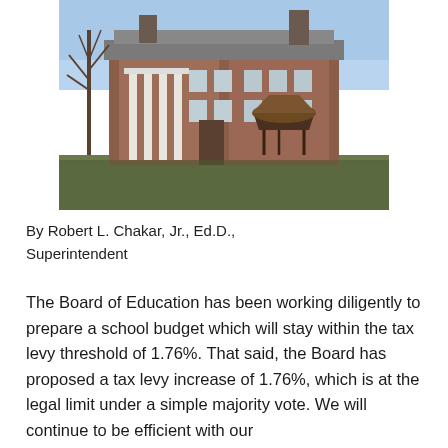[Figure (photo): Exterior photograph of a brick school building with white columns, bare trees in winter, and a covered gazebo or pavilion structure in the foreground on a grassy lawn under a blue sky.]
By Robert L. Chakar, Jr., Ed.D., Superintendent
The Board of Education has been working diligently to prepare a school budget which will stay within the tax levy threshold of 1.76%. That said, the Board has proposed a tax levy increase of 1.76%, which is at the legal limit under a simple majority vote. We will continue to be efficient with our